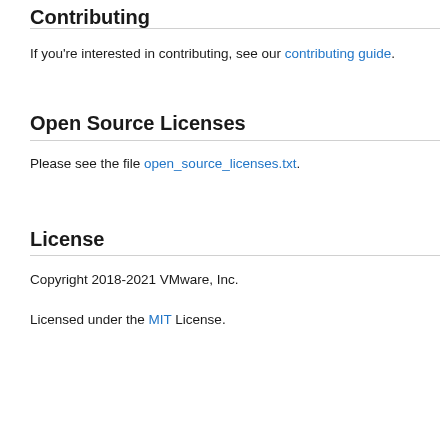Contributing
If you're interested in contributing, see our contributing guide.
Open Source Licenses
Please see the file open_source_licenses.txt.
License
Copyright 2018-2021 VMware, Inc.
Licensed under the MIT License.